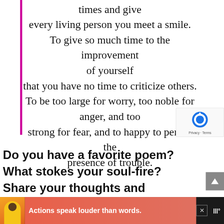times and give every living person you meet a smile. To give so much time to the improvement of yourself that you have no time to criticize others. To be too large for worry, too noble for anger, and too strong for fear, and to happy to permit the presence of trouble.
Do you have a favorite poem? What stokes your soul-fire? Share your thoughts and experiences in the
[Figure (infographic): Advertisement banner at bottom: dark background with illustrated person in yellow hoodie, text 'Actions speak louder than words.' in white bold font on pink/salmon background. Close X button and logo mark visible.]